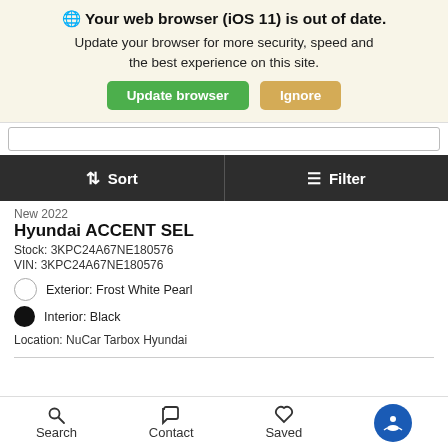Your web browser (iOS 11) is out of date. Update your browser for more security, speed and the best experience on this site. Update browser | Ignore
Sort   Filter
New 2022
Hyundai ACCENT SEL
Stock: 3KPC24A67NE180576
VIN: 3KPC24A67NE180576
Exterior: Frost White Pearl
Interior: Black
Location: NuCar Tarbox Hyundai
Details
MSRP   $19,310
Search   Contact   Saved